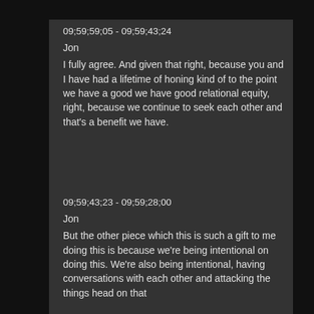09;59;59;05 - 09;59;43;24
Jon
I fully agree. And given that right, because you and I have had a lifetime of honing kind of to the point we have a good we have good relational equity, right, because we continue to seek each other and that's a benefit we have.
09;59;43;23 - 09;59;28;00
Jon
But the other piece which this is such a gift to me doing this is because we're being intentional on doing this. We're also being intentional, having conversations with each other and attacking the things head on that